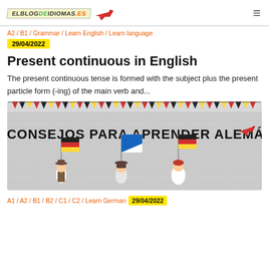ELBLOGDEIDIOMAS.ES [logo with plane]
A2 / B1 / Grammar / Learn English / Learn language
29/04/2022
Present continuous in English
The present continuous tense is formed with the subject plus the present particle form (-ing) of the main verb and...
[Figure (illustration): Colorful banner image with bunting flags (red, black, yellow) at the top on a brick-wall background, featuring three cartoon characters holding German flags, with text '8 CONSEJOS PARA APRENDER ALEMÁN' and a red airplane graphic.]
A1 / A2 / B1 / B2 / C1 / C2 / Learn German  29/04/2022